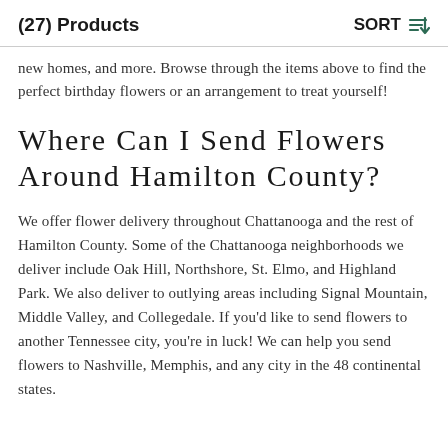(27) Products   SORT
new homes, and more. Browse through the items above to find the perfect birthday flowers or an arrangement to treat yourself!
Where Can I Send Flowers Around Hamilton County?
We offer flower delivery throughout Chattanooga and the rest of Hamilton County. Some of the Chattanooga neighborhoods we deliver include Oak Hill, Northshore, St. Elmo, and Highland Park. We also deliver to outlying areas including Signal Mountain, Middle Valley, and Collegedale. If you'd like to send flowers to another Tennessee city, you're in luck! We can help you send flowers to Nashville, Memphis, and any city in the 48 continental states.